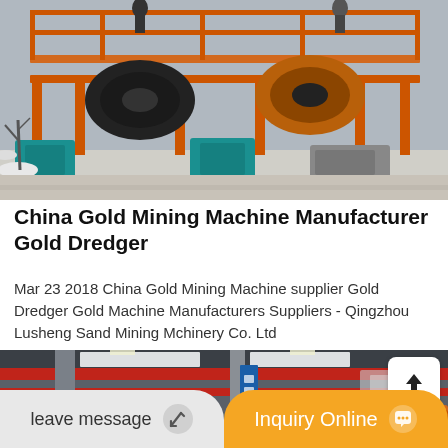[Figure (photo): Outdoor industrial gold dredging machine with orange metal frame structure, winch drums, teal-colored motors, and workers on top platform. Snow visible on ground nearby.]
China Gold Mining Machine Manufacturer Gold Dredger
Mar 23 2018 China Gold Mining Machine supplier Gold Dredger Gold Machine Manufacturers Suppliers - Qingzhou Lusheng Sand Mining Mchinery Co. Ltd
[Figure (photo): Indoor factory/warehouse with red overhead crane beams, blue banner signage in Chinese, and orange mining machinery visible in background.]